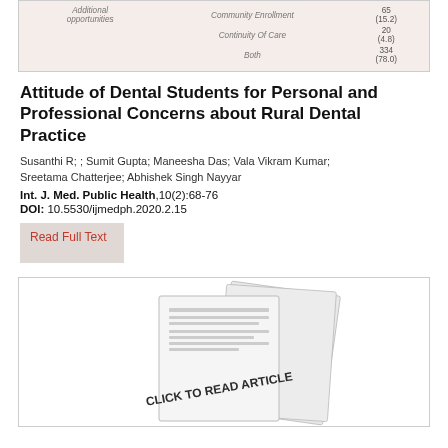| Additional opportunities | Community Enrollment |  |
| --- | --- | --- |
|  | Community Enrollment | 65 (15.2) |
|  | Continuity Of Care | 20 (4.8) |
|  | Both | 334 (78.0) |
Attitude of Dental Students for Personal and Professional Concerns about Rural Dental Practice
Susanthi R; ; Sumit Gupta; Maneesha Das; Vala Vikram Kumar; Sreetama Chatterjee; Abhishek Singh Nayyar
Int. J. Med. Public Health,10(2):68-76
DOI: 10.5530/ijmedph.2020.2.15
Read Full Text
[Figure (illustration): Illustration of stacked document pages with text 'CLICK TO READ ARTICLE' printed on the front page]